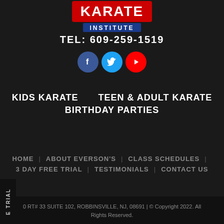[Figure (logo): Karate Institute logo with stylized red text and blue banner saying INSTITUTE]
TEL: 609-259-1519
[Figure (illustration): Three social media icons: Facebook (blue circle), Twitter (cyan circle), YouTube (red circle)]
KIDS KARATE
TEEN & ADULT KARATE
BIRTHDAY PARTIES
HOME | ABOUT EVERSON'S | CLASS SCHEDULES | 3 DAY FREE TRIAL | TESTIMONIALS | CONTACT US
0 RT# 33 SUITE 102, ROBBINSVILLE, NJ, 08691 | © Copyright 2022. All Rights Reserved.